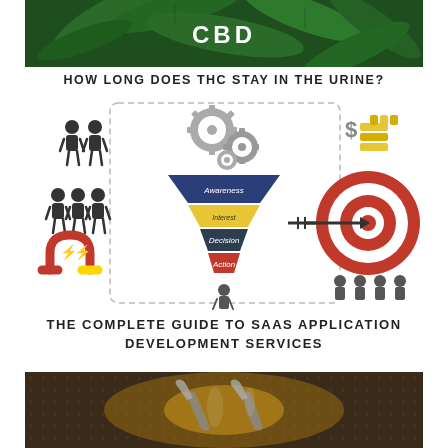[Figure (photo): Close-up photo of green cannabis/hemp leaves with white text 'CBD' overlaid in the center]
HOW LONG DOES THC STAY IN THE URINE?
[Figure (infographic): Marketing funnel infographic showing stages: Awareness, Interest (partially visible), Decision, Action. Left side shows group of people icons with magnets. Right side shows a target/bullseye with an arrow, dollar sign with gold coins/bars. Gears shown at top center. Small person icons at bottom.]
THE COMPLETE GUIDE TO SAAS APPLICATION DEVELOPMENT SERVICES
[Figure (photo): Dark industrial/engineering photo showing metal tools or machinery on a textured surface, partially cut off at bottom of page]